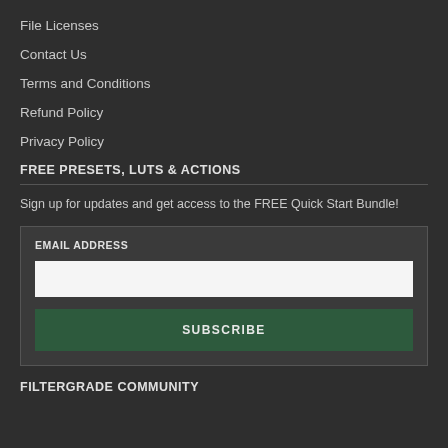File Licenses
Contact Us
Terms and Conditions
Refund Policy
Privacy Policy
FREE PRESETS, LUTS & ACTIONS
Sign up for updates and get access to the FREE Quick Start Bundle!
EMAIL ADDRESS
FILTERGRADE COMMUNITY